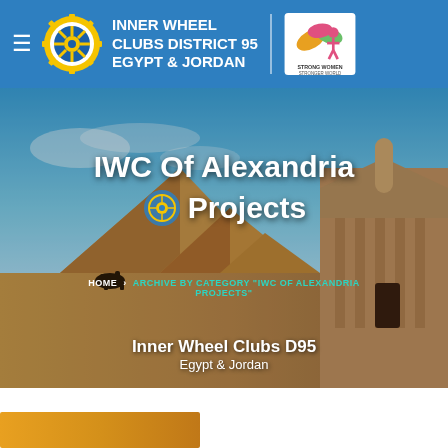[Figure (screenshot): Website header and hero section for Inner Wheel Clubs District 95 Egypt & Jordan. Blue header bar with hamburger menu, Inner Wheel gear logo, organization name text, and Strong Women Stronger World logo. Hero background shows composite of Egyptian pyramids and Petra Jordan. Overlay text reads IWC Of Alexandria Projects with breadcrumb navigation and Inner Wheel Clubs D95 Egypt & Jordan branding at bottom. White section below with partial bottom image strip.]
INNER WHEEL CLUBS DISTRICT 95 EGYPT & JORDAN
IWC Of Alexandria Projects
HOME > ARCHIVE BY CATEGORY "IWC OF ALEXANDRIA PROJECTS"
Inner Wheel Clubs D95
Egypt & Jordan